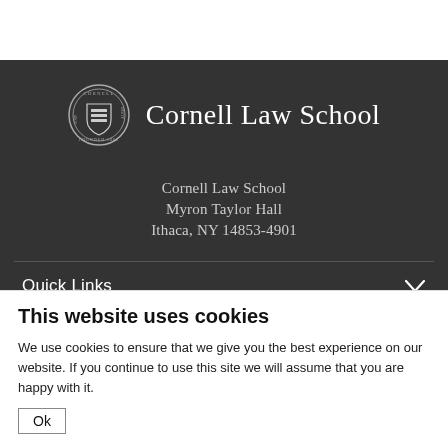[Figure (logo): Cornell University seal with Cornell Law School wordmark]
Cornell Law School
Myron Taylor Hall
Ithaca, NY 14853-4901
Quick Links
Quick Links
This website uses cookies
We use cookies to ensure that we give you the best experience on our website. If you continue to use this site we will assume that you are happy with it.
Ok